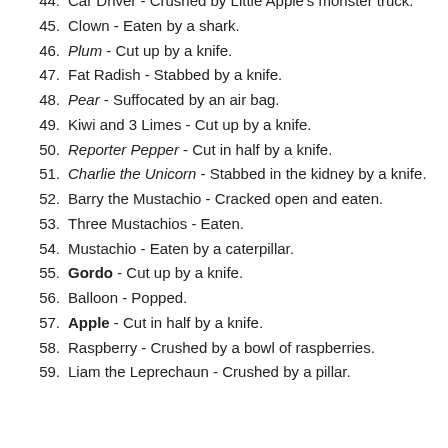44. Car Driver - Crushed by Little Apple's monster truck.
45. Clown - Eaten by a shark.
46. Plum - Cut up by a knife.
47. Fat Radish - Stabbed by a knife.
48. Pear - Suffocated by an air bag.
49. Kiwi and 3 Limes - Cut up by a knife.
50. Reporter Pepper - Cut in half by a knife.
51. Charlie the Unicorn - Stabbed in the kidney by a knife.
52. Barry the Mustachio - Cracked open and eaten.
53. Three Mustachios - Eaten.
54. Mustachio - Eaten by a caterpillar.
55. Gordo - Cut up by a knife.
56. Balloon - Popped.
57. Apple - Cut in half by a knife.
58. Raspberry - Crushed by a bowl of raspberries.
59. Liam the Leprechaun - Crushed by a pillar.